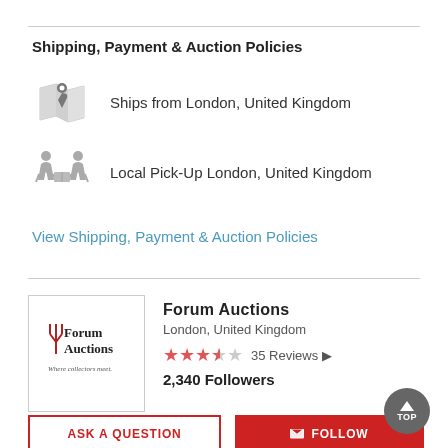Shipping, Payment & Auction Policies
Ships from London, United Kingdom
Local Pick-Up London, United Kingdom
View Shipping, Payment & Auction Policies
[Figure (logo): Forum Auctions logo with text 'Where collectors meet.']
Forum Auctions
London, United Kingdom
35 Reviews
2,340 Followers
ASK A QUESTION
FOLLOW